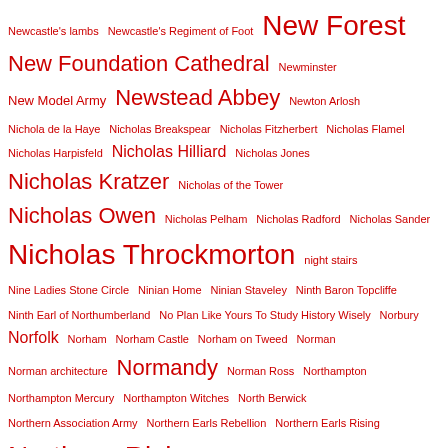Newcastle's lambs  Newcastle's Regiment of Foot  New Forest  New Foundation Cathedral  Newminster  New Model Army  Newstead Abbey  Newton Arlosh  Nichola de la Haye  Nicholas Breakspear  Nicholas Fitzherbert  Nicholas Flamel  Nicholas Harpisfeld  Nicholas Hilliard  Nicholas Jones  Nicholas Kratzer  Nicholas of the Tower  Nicholas Owen  Nicholas Pelham  Nicholas Radford  Nicholas Sander  Nicholas Throckmorton  night stairs  Nine Ladies Stone Circle  Ninian Home  Ninian Staveley  Ninth Baron Topcliffe  Ninth Earl of Northumberland  No Plan Like Yours To Study History Wisely  Norbury  Norfolk  Norham  Norham Castle  Norham on Tweed  Norman  Norman architecture  Normandy  Norman Ross  Northampton  Northampton Mercury  Northampton Witches  North Berwick  Northern Association Army  Northern Earls Rebellion  Northern Earls Rising  Northern Rising  Northey Island  Northumberland Bestiary  Northumbria  Norwich  Norwich Cathedral  Nostell Priory  Nottingham  Nottingham Castle  number 7  Nun Appleton Priory  Nun Monkton  nunnery  Nunnington Hall  Nun of Kent  Nun Street Derby  Oath of Allegiance  Oath of Salisbury  Oath of Supremacy